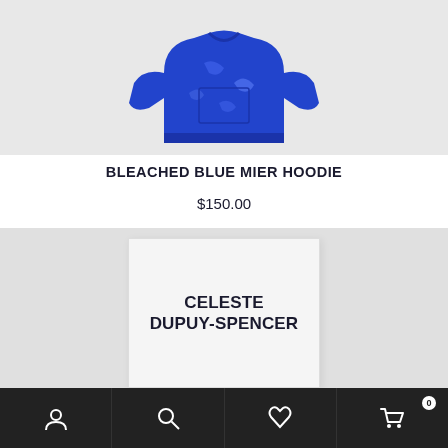[Figure (photo): Top portion of a bleached blue hoodie on a light gray background]
BLEACHED BLUE MIER HOODIE
$150.00
[Figure (photo): Light gray card/book with bold text reading CELESTE DUPUY-SPENCER on a light gray background]